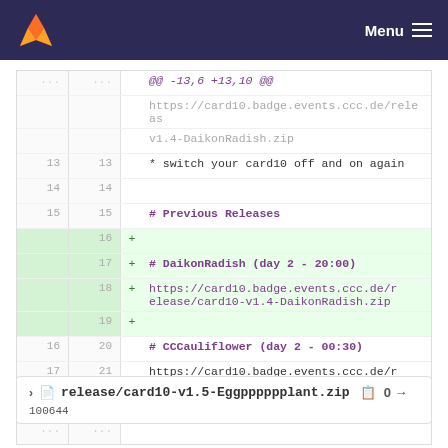GitLab — Menu
[Figure (screenshot): GitLab diff view showing changes to a release notes file. Lines 13-22 visible. Added lines 16-19 with DaikonRadish release link. Lines 16-22 show CCCauliflower entry.]
release/card10-v1.5-Eggpppppplant.zip  0 →
100644